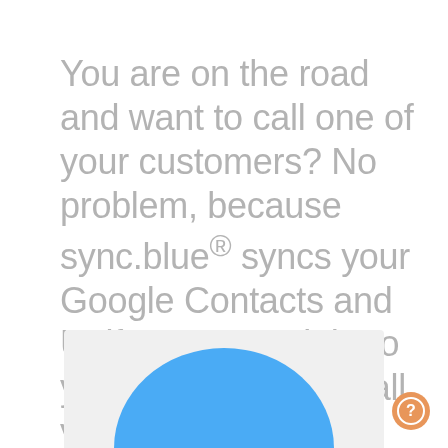You are on the road and want to call one of your customers? No problem, because sync.blue® syncs your Google Contacts and Unify contacts right to your smartphone. Call your customers wherever you are!
Sync my contacts to my smartphone now
[Figure (illustration): Bottom portion of a smartphone or app illustration showing a blue rounded shape (top of a user avatar/profile icon) against a light gray card background]